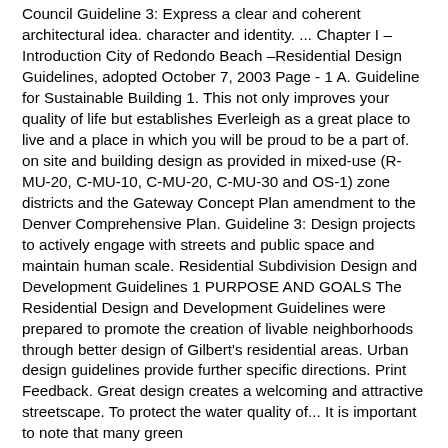Council Guideline 3: Express a clear and coherent architectural idea. character and identity. ... Chapter I – Introduction City of Redondo Beach –Residential Design Guidelines, adopted October 7, 2003 Page - 1 A. Guideline for Sustainable Building 1. This not only improves your quality of life but establishes Everleigh as a great place to live and a place in which you will be proud to be a part of. on site and building design as provided in mixed-use (R-MU-20, C-MU-10, C-MU-20, C-MU-30 and OS-1) zone districts and the Gateway Concept Plan amendment to the Denver Comprehensive Plan. Guideline 3: Design projects to actively engage with streets and public space and maintain human scale. Residential Subdivision Design and Development Guidelines 1 PURPOSE AND GOALS The Residential Design and Development Guidelines were prepared to promote the creation of livable neighborhoods through better design of Gilbert's residential areas. Urban design guidelines provide further specific directions. Print Feedback. Great design creates a welcoming and attractive streetscape. To protect the water quality of... It is important to note that many green